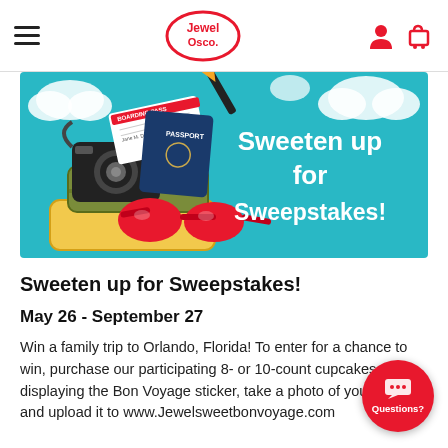Jewel Osco navigation bar with hamburger menu, Jewel Osco logo, user and cart icons
[Figure (illustration): Promotional banner with teal background showing suitcases, camera, passport, boarding pass, red sunglasses, clouds, and text 'Sweeten up for Sweepstakes!']
Sweeten up for Sweepstakes!
May 26 - September 27
Win a family trip to Orlando, Florida! To enter for a chance to win, purchase our participating 8- or 10-count cupcakes displaying the Bon Voyage sticker, take a photo of your receipt and upload it to www.Jewelsweetbonvoyage.com